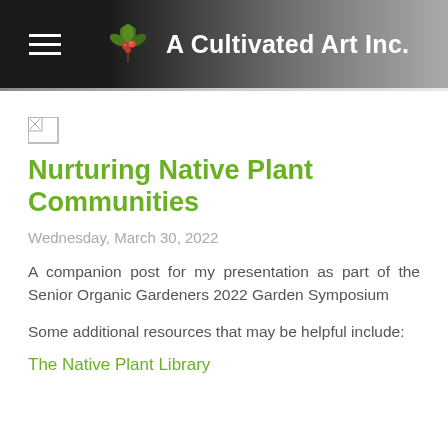A Cultivated Art Inc.
[Figure (illustration): Broken/missing image placeholder icon]
Nurturing Native Plant Communities
Wednesday, March 30, 2022
A companion post for my presentation as part of the Senior Organic Gardeners 2022 Garden Symposium
Some additional resources that may be helpful include:
The Native Plant Library